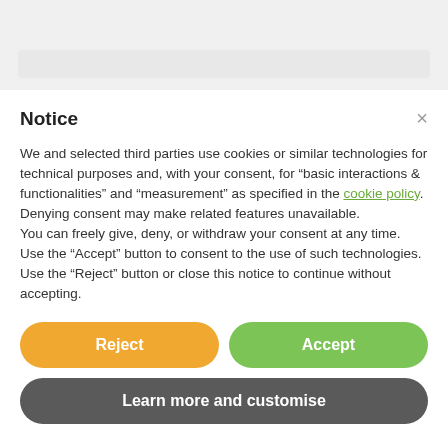[Figure (screenshot): Top bar area representing a browser or app bar background]
Notice
We and selected third parties use cookies or similar technologies for technical purposes and, with your consent, for “basic interactions & functionalities” and “measurement” as specified in the cookie policy. Denying consent may make related features unavailable.
You can freely give, deny, or withdraw your consent at any time.
Use the “Accept” button to consent to the use of such technologies. Use the “Reject” button or close this notice to continue without accepting.
Reject
Accept
Learn more and customise